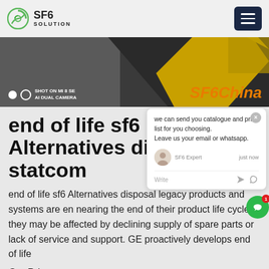[Figure (logo): SF6 Solution logo with circular green icon and text]
[Figure (photo): Hero image with dark background, yellow equipment, text 'SHOT ON MI 8 SE AI DUAL CAMERA' and 'SF6China' in orange italic]
end of life sf6 Alternatives disposal statcom
end of life sf6 Alternatives disposal statcom legacy products and systems are en nearing the end of their product life cycle, they may be affected by declining supply of spare parts or lack of service and support. GE proactively develops end of life
Get Price